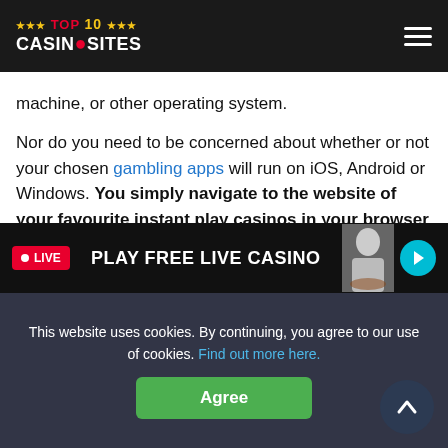TOP 10 CASINO SITES
machine, or other operating system.
Nor do you need to be concerned about whether or not your chosen gambling apps will run on iOS, Android or Windows. You simply navigate to the website of your favourite instant play casinos in your browser and get started right away.
Hard Drive Space
This is probably less of an issue for personal computers these
[Figure (screenshot): Live casino promotional banner with red LIVE badge and 'PLAY FREE LIVE CASINO' text, dealer image, and teal arrow button]
This website uses cookies. By continuing, you agree to our use of cookies. Find out more here.
Agree